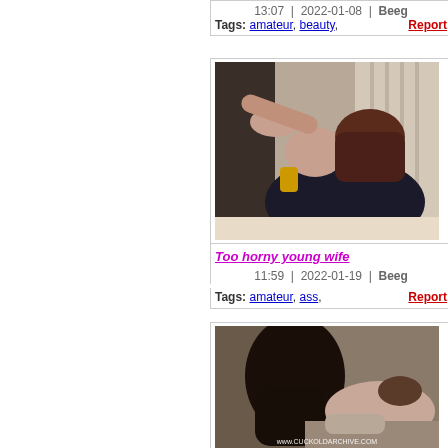13:07 | 2022-01-08 | Beeg
Tags: amateur, beauty,  Report
[Figure (photo): Video thumbnail showing a woman in a black dress on a bed]
Too horny young wife
11:59 | 2022-01-19 | Beeg
Tags: amateur, ass,  Report
[Figure (photo): Video thumbnail showing two people on a bed, watermark www.cuckoldarchive.com]